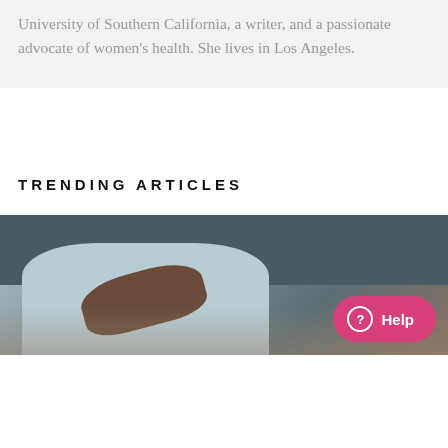University of Southern California, a writer, and a passionate advocate of women's health. She lives in Los Angeles.
TRENDING ARTICLES
[Figure (photo): Photo of a person in a light blue shirt holding their side/abdomen area, with a pink Help button overlay in the bottom right corner.]